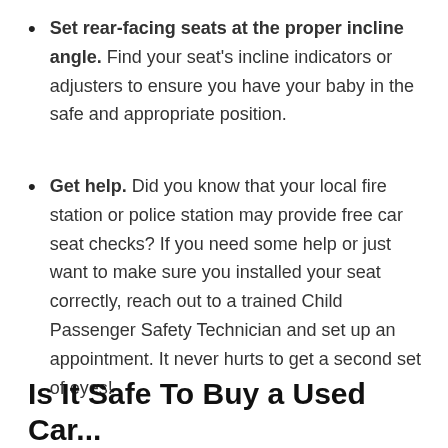Set rear-facing seats at the proper incline angle. Find your seat's incline indicators or adjusters to ensure you have your baby in the safe and appropriate position.
Get help. Did you know that your local fire station or police station may provide free car seat checks? If you need some help or just want to make sure you installed your seat correctly, reach out to a trained Child Passenger Safety Technician and set up an appointment. It never hurts to get a second set of eyes!
Is It Safe To Buy a Used Car...